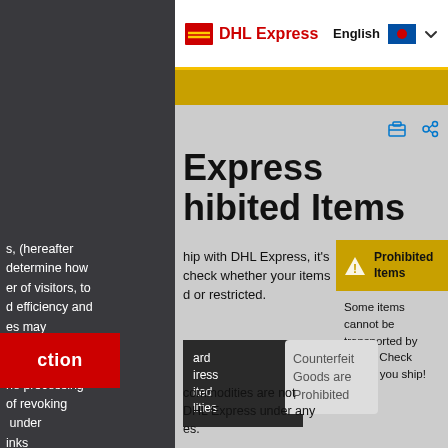DHL Express | English
Express Prohibited Items
s, (hereafter determine how er of visitors, to d efficiency and es may based in tion (e. g. ne processing of revoking under inks
hip with DHL Express, it's check whether your items d or restricted.
[Figure (other): Warning card: Prohibited Items - Some items cannot be transported by DHL – Check before you ship!]
ard iress ited lities
Counterfeit Goods are Prohibited
commodities are not DHL Express under any es.
ction